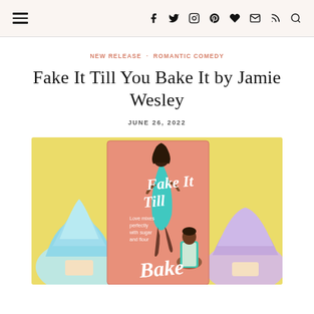Navigation header with hamburger menu and social icons: f, twitter, instagram, pinterest, heart, email, rss, search
NEW RELEASE · ROMANTIC COMEDY
Fake It Till You Bake It by Jamie Wesley
JUNE 26, 2022
[Figure (photo): Book cover of 'Fake It Till You Bake It' by Jamie Wesley — salmon/pink cover with a woman in a teal dress and a man in an apron, surrounded by colorful frosted cupcakes on a yellow background]